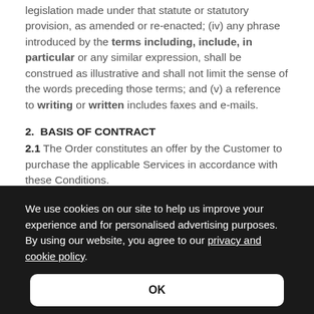legislation made under that statute or statutory provision, as amended or re-enacted; (iv) any phrase introduced by the terms including, include, in particular or any similar expression, shall be construed as illustrative and shall not limit the sense of the words preceding those terms; and (v) a reference to writing or written includes faxes and e-mails.
2. BASIS OF CONTRACT
2.1 The Order constitutes an offer by the Customer to purchase the applicable Services in accordance with these Conditions.
We use cookies on our site to help us improve your experience and for personalised advertising purposes. By using our website, you agree to our privacy and cookie policy.